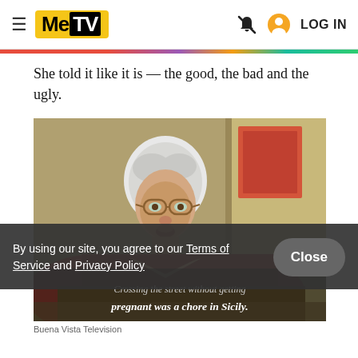MeTV — LOG IN
She told it like it is — the good, the bad and the ugly.
[Figure (screenshot): TV still image of an older woman with white hair and glasses, sitting in what appears to be a kitchen set from The Golden Girls. Subtitle text at bottom reads: 'Crossing the street without getting pregnant was a chore in Sicily.']
By using our site, you agree to our Terms of Service and Privacy Policy
Buena Vista Television